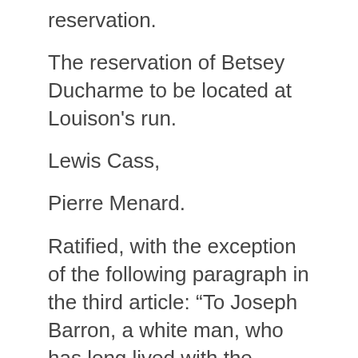reservation.
The reservation of Betsey Ducharme to be located at Louison's run.
Lewis Cass,
Pierre Menard.
Ratified, with the exception of the following paragraph in the third article: “To Joseph Barron, a white man, who has long lived with the Indians, and to whom they are much attached, two sections of land; but the rejection of this grant is not to affect any other part of the treaty.”